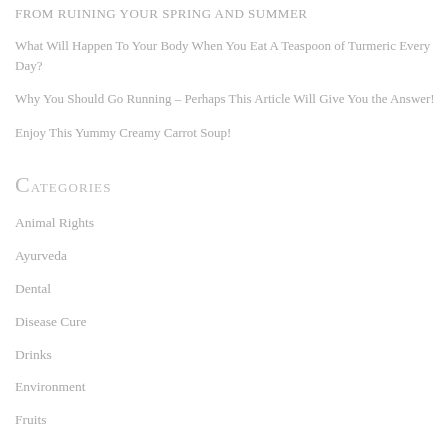FROM RUINING YOUR SPRING AND SUMMER
What Will Happen To Your Body When You Eat A Teaspoon of Turmeric Every Day?
Why You Should Go Running – Perhaps This Article Will Give You the Answer!
Enjoy This Yummy Creamy Carrot Soup!
Categories
Animal Rights
Ayurveda
Dental
Disease Cure
Drinks
Environment
Fruits